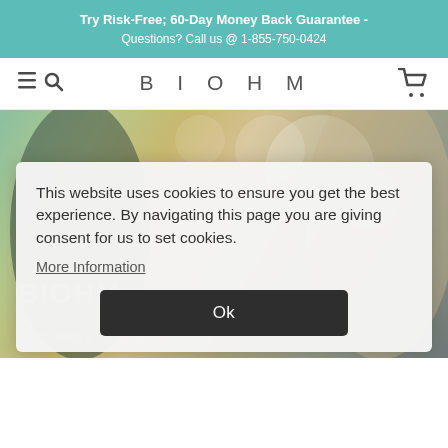Try Risk-Free; 60-Day Money Back Guarantee - Questions? Call us @ 1-855-750-0424
[Figure (screenshot): BIOHM website navigation bar with hamburger/search icons on left, BIOHM logo in center, cart icon on right]
[Figure (photo): Background photo of two people outdoors with bokeh light effect, with faded BIOHM text overlay]
This website uses cookies to ensure you get the best experience. By navigating this page you are giving consent for us to set cookies.
More Information
Ok